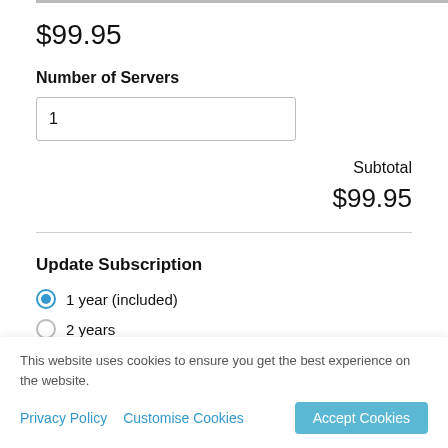$99.95
Number of Servers
1
Subtotal
$99.95
Update Subscription
1 year (included)
2 years
3 years
This website uses cookies to ensure you get the best experience on the website.
Privacy Policy
Customise Cookies
Accept Cookies